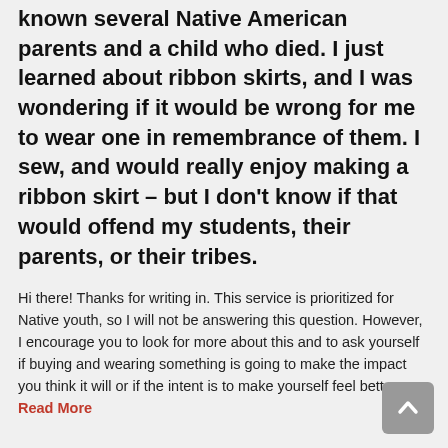known several Native American parents and a child who died. I just learned about ribbon skirts, and I was wondering if it would be wrong for me to wear one in remembrance of them. I sew, and would really enjoy making a ribbon skirt – but I don't know if that would offend my students, their parents, or their tribes.
Hi there! Thanks for writing in. This service is prioritized for Native youth, so I will not be answering this question. However, I encourage you to look for more about this and to ask yourself if buying and wearing something is going to make the impact you think it will or if the intent is to make yourself feel better... Read More